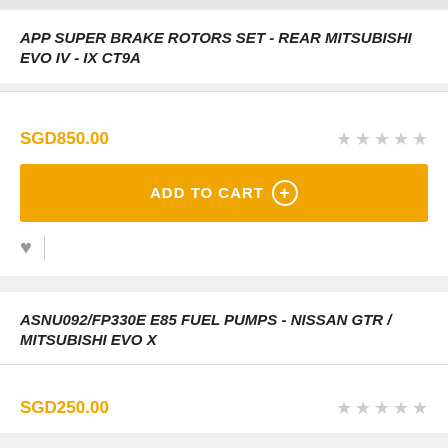APP SUPER BRAKE ROTORS SET - REAR MITSUBISHI EVO IV - IX CT9A
SGD850.00
[Figure (other): Add to Cart button with orange background and plus circle icon]
[Figure (other): Heart wishlist icon followed by vertical divider]
ASNU092/FP330E E85 FUEL PUMPS - NISSAN GTR / MITSUBISHI EVO X
SGD250.00